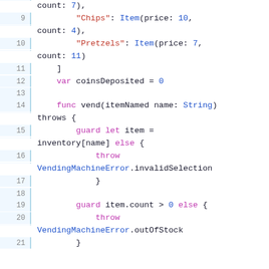Swift code snippet showing vending machine implementation, lines 9-20
Line 9: "Chips": Item(price: 10,
count: 4),
Line 10: "Pretzels": Item(price: 7,
count: 11)
Line 11: ]
Line 12: var coinsDeposited = 0
Line 13: (blank)
Line 14: func vend(itemNamed name: String) throws {
Line 15: guard let item = inventory[name] else {
Line 16: throw VendingMachineError.invalidSelection
Line 17: }
Line 18: (blank)
Line 19: guard item.count > 0 else {
Line 20: throw VendingMachineError.outOfStock